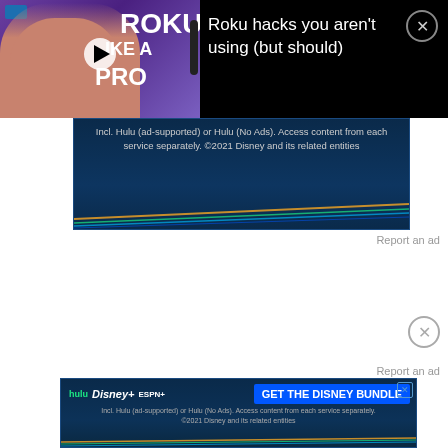[Figure (screenshot): Roku thumbnail video ad showing a man holding a Roku remote, purple/blue gradient background, text ROKU LIKE A PRO in white, play button overlay, with Roku hacks you aren't using (but should) text on black background, and close X button]
[Figure (screenshot): Partial Disney bundle advertisement showing Hulu Disney+ ESPN+ logos with GET THE DISNEY BUNDLE button on dark blue background with streaming lines]
Report an ad
[Figure (screenshot): Close X circle button]
Report an ad
[Figure (screenshot): Disney bundle advertisement showing Hulu Disney+ ESPN+ logos with GET THE DISNEY BUNDLE button, Incl. Hulu (ad-supported) or Hulu (No Ads). Access content from each service separately. ©2021 Disney and its related entities]